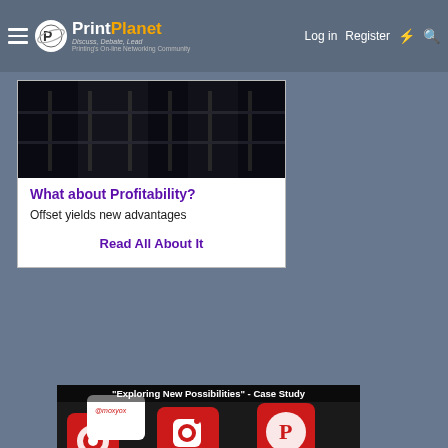PrintPlanet - Discuss, Debate, Lead - Printing's On-line Networking Community | Log in | Register
[Figure (screenshot): Dark industrial shelving/rack image at top of article card]
What about Profitability?
Offset yields new advantages
Read All About It
[Figure (photo): Exploring New Possibilities - Case Study banner showing red and white moxyox branded business cards with social media icons]
[Figure (logo): Standard logo on grey background with crown symbol]